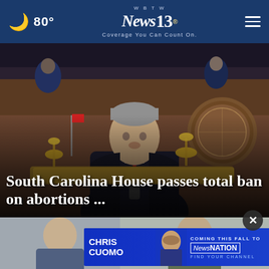80° WBTW News 13 Coverage You Can Count On.
[Figure (photo): South Carolina House chamber scene with a man in a dark suit and burgundy tie speaking at a podium, with ornate wooden paneling and a state seal in the background]
South Carolina House passes total ban on abortions ...
[Figure (photo): Two partial thumbnails of news stories at bottom of page]
[Figure (screenshot): Advertisement banner: Chris Cuomo - Coming This Fall To NewsNation - Find Your Channel]